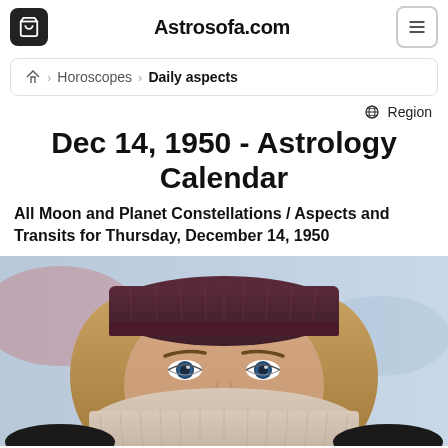Astrosofa.com
Horoscopes > Daily aspects
Region
Dec 14, 1950 - Astrology Calendar
All Moon and Planet Constellations / Aspects and Transits for Thursday, December 14, 1950
[Figure (photo): Close-up photo of a young woman with blue eyes wearing a dark maroon knit beanie hat and light-colored gloves/scarf covering her lower face, outdoors in cold weather]